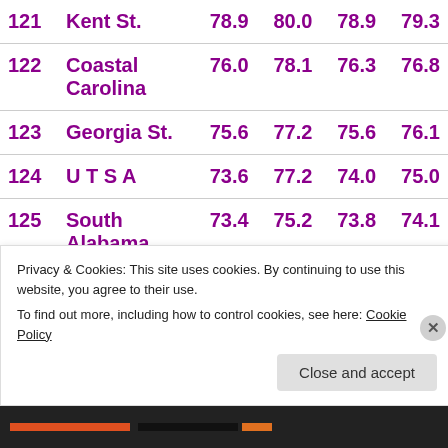| Rank | School | Score1 | Score2 | Score3 | Score4 |
| --- | --- | --- | --- | --- | --- |
| 121 | Kent St. | 78.9 | 80.0 | 78.9 | 79.3 |
| 122 | Coastal Carolina | 76.0 | 78.1 | 76.3 | 76.8 |
| 123 | Georgia St. | 75.6 | 77.2 | 75.6 | 76.1 |
| 124 | U T S A | 73.6 | 77.2 | 74.0 | 75.0 |
| 125 | South Alabama | 73.4 | 75.2 | 73.8 | 74.1 |
| 126 | Texas State | 72.8 | 75.2 | 73.1 | 73.7 |
Privacy & Cookies: This site uses cookies. By continuing to use this website, you agree to their use. To find out more, including how to control cookies, see here: Cookie Policy